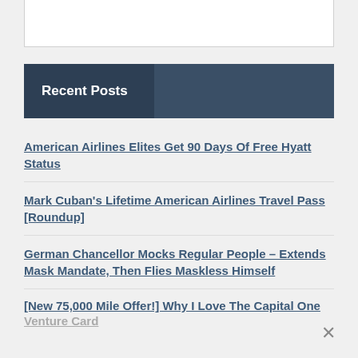Recent Posts
American Airlines Elites Get 90 Days Of Free Hyatt Status
Mark Cuban's Lifetime American Airlines Travel Pass [Roundup]
German Chancellor Mocks Regular People – Extends Mask Mandate, Then Flies Maskless Himself
[New 75,000 Mile Offer!] Why I Love The Capital One Venture Card